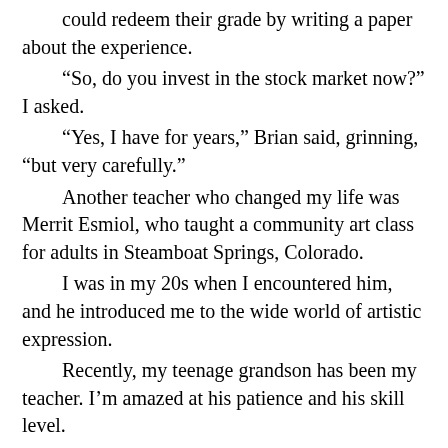could redeem their grade by writing a paper about the experience.
“So, do you invest in the stock market now?” I asked.
“Yes, I have for years,” Brian said, grinning, “but very carefully.”
Another teacher who changed my life was Merrit Esmiol, who taught a community art class for adults in Steamboat Springs, Colorado.
I was in my 20s when I encountered him, and he introduced me to the wide world of artistic expression.
Recently, my teenage grandson has been my teacher. I’m amazed at his patience and his skill level.
I’m learning what I would call “some silly video game” called Pode. The two of us go on an adventure, acquiring different skills as we figure out puzzles, jump obstacles, and make our world beautiful in the process.